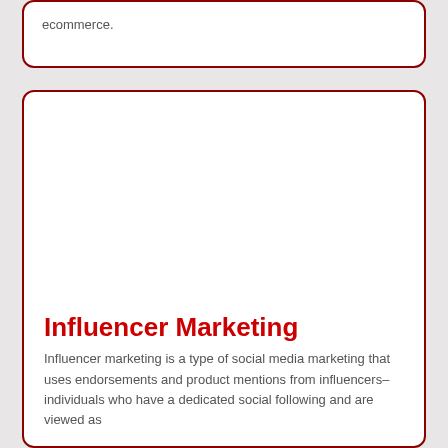ecommerce.
Influencer Marketing
Influencer marketing is a type of social media marketing that uses endorsements and product mentions from influencers–individuals who have a dedicated social following and are viewed as